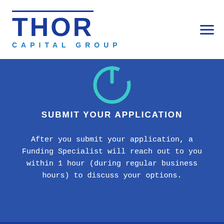[Figure (logo): Thor Capital Group logo with dark blue THOR text and light blue CAPITAL GROUP text beneath, with a horizontal line above THOR]
[Figure (illustration): Circular power button icon in teal/cyan outline on blue background]
SUBMIT YOUR APPLICATION
After you submit your application, a Funding Specialist will reach out to you within 1 hour (during regular business hours) to discuss your options.